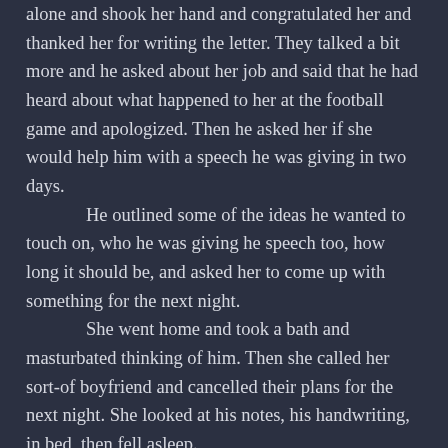alone and shook her hand and congratulated her and thanked her for writing the letter. They talked a bit more and he asked about her job and said that he had heard about what happened to her at the football game and apologized. Then he asked her if she would help him with a speech he was giving in two days.
	He outlined some of the ideas he wanted to touch on, who he was giving he speech too, how long it should be, and asked her to come up with something for the next night.
	She went home and took a bath and masturbated thinking of him. Then she called her sort-of boyfriend and cancelled their plans for the next night. She looked at his notes, his handwriting, in bed, then fell asleep.
	At work the next day she tried to take care of most of the stuff she had to do for a cellphone ad and then during lunch made some notes and during the afternoon, in between rewrites of the...